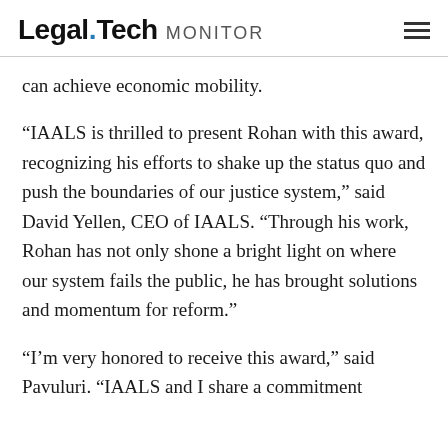Legal.Tech MONITOR
can achieve economic mobility.
“IAALS is thrilled to present Rohan with this award, recognizing his efforts to shake up the status quo and push the boundaries of our justice system,” said David Yellen, CEO of IAALS. “Through his work, Rohan has not only shone a bright light on where our system fails the public, he has brought solutions and momentum for reform.”
“I’m very honored to receive this award,” said Pavuluri. “IAALS and I share a commitment